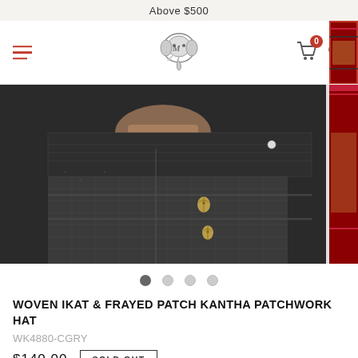Above $500
[Figure (logo): Mako elephant logo in navigation bar with hamburger menu, cart icon with badge showing 0, and search icon]
[Figure (photo): Close-up of a black woven ikat and frayed patch kantha patchwork hat fabric showing detailed textile pattern with small embroidered motifs]
Dot navigation indicators (4 dots, first active)
WOVEN IKAT & FRAYED PATCH KANTHA PATCHWORK HAT
WK4880-CGRY
$140.00  SOLD OUT